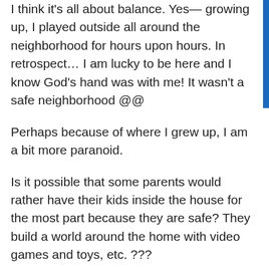I think it's all about balance. Yes— growing up, I played outside all around the neighborhood for hours upon hours. In retrospect… I am lucky to be here and I know God's hand was with me! It wasn't a safe neighborhood @@
Perhaps because of where I grew up, I am a bit more paranoid.
Is it possible that some parents would rather have their kids inside the house for the most part because they are safe? They build a world around the home with video games and toys, etc. ???
Just a thought—- :)
Reply